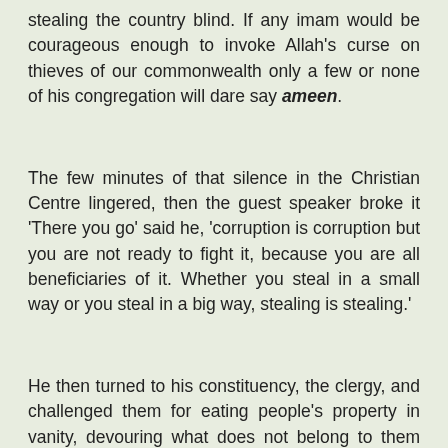stealing the country blind. If any imam would be courageous enough to invoke Allah's curse on thieves of our commonwealth only a few or none of his congregation will dare say ameen.
The few minutes of that silence in the Christian Centre lingered, then the guest speaker broke it 'There you go' said he, 'corruption is corruption but you are not ready to fight it, because you are all beneficiaries of it. Whether you steal in a small way or you steal in a big way, stealing is stealing.'
He then turned to his constituency, the clergy, and challenged them for eating people's property in vanity, devouring what does not belong to them and interacting with the thieves in government without speaking truth to power. 'Let us take our case to the Court of God if you dare!' On this also there was